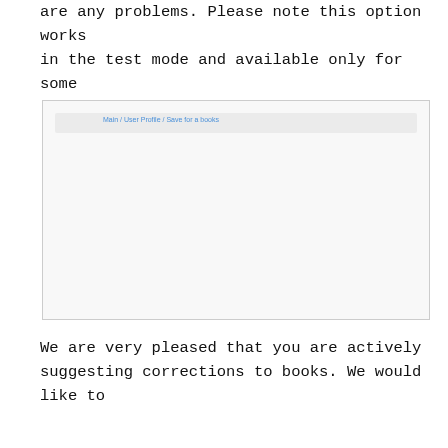are any problems. Please note this option works in the test mode and available only for some "active" users.
[Figure (screenshot): Screenshot of a user interface page showing a navigation bar with breadcrumb links reading 'Main / User Profile / Save for a books' on a light gray background. The main content area is empty/white.]
We are very pleased that you are actively suggesting corrections to books. We would like to